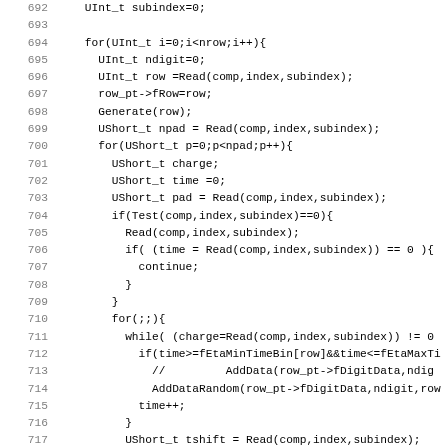Source code listing, lines 692-723, C++ code for reading and processing detector data